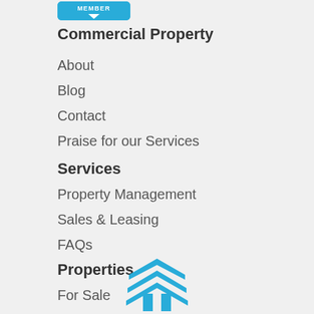[Figure (logo): Blue badge with text MEMBER and downward chevron]
Commercial Property
About
Blog
Contact
Praise for our Services
Services
Property Management
Sales & Leasing
FAQs
Properties
For Sale
For Lease
Sold
Leased
[Figure (logo): Blue stylized building/roof logo icon at bottom center]